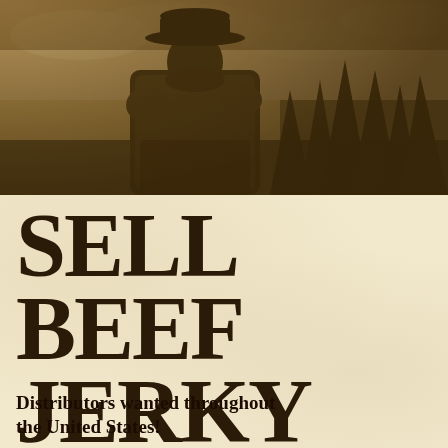[Figure (photo): Sepia-toned photograph of a man wearing a cowboy hat and quilted jacket, viewed from behind/side, standing in front of pine trees under a cloudy sky.]
SELL BEEF JERKY
Distributors wanted throughout the United States!